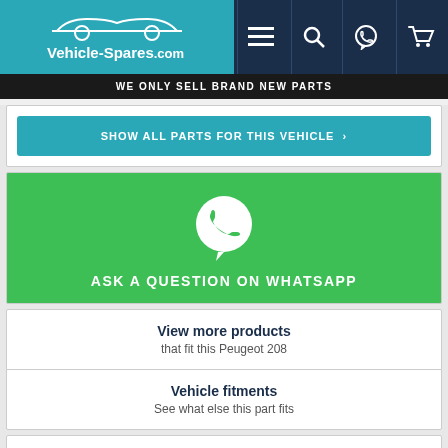[Figure (screenshot): Vehicle-Spares.com website header with teal logo area showing car silhouette and site name, dark navy navigation bar with hamburger menu, search, WhatsApp and cart icons]
WE ONLY SELL BRAND NEW PARTS
SHOW ALL PARTS FOR THIS VEHICLE >
[Figure (infographic): Green WhatsApp banner with WhatsApp phone icon and text ASK A QUESTION ON WHATSAPP]
View more products
that fit this Peugeot 208
Vehicle fitments
See what else this part fits
Brand New Replacement Peugeot 208 Door Mirror
This Door Mirror is a brand new replacement part that fits a